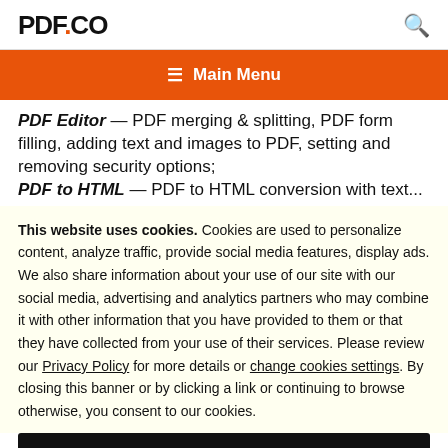PDF.CO [search icon]
≡ Main Menu
PDF Editor — PDF merging & splitting, PDF form filling, adding text and images to PDF, setting and removing security options; PDF to HTML — PDF to HTML conversion with text...
This website uses cookies. Cookies are used to personalize content, analyze traffic, provide social media features, display ads. We also share information about your use of our site with our social media, advertising and analytics partners who may combine it with other information that you have provided to them or that they have collected from your use of their services. Please review our Privacy Policy for more details or change cookies settings. By closing this banner or by clicking a link or continuing to browse otherwise, you consent to our cookies.
OK